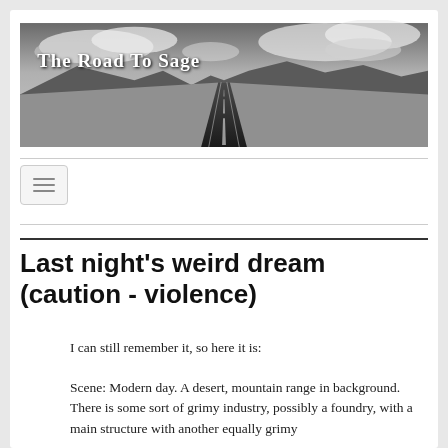[Figure (photo): Black and white header image of a long straight desert road extending to the horizon with mountain range in background and dramatic cloudy sky. White text overlay reads 'The Road To Sage' in serif font.]
[Figure (screenshot): Navigation hamburger menu button (three horizontal lines) in a rounded rectangle button]
Last night's weird dream (caution - violence)
I can still remember it, so here it is:
Scene: Modern day. A desert, mountain range in background. There is some sort of grimy industry, possibly a foundry, with a main structure with another equally grimy